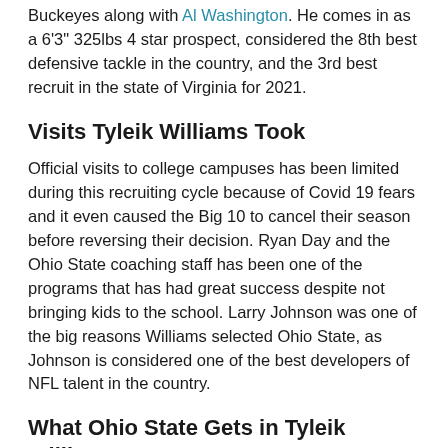Buckeyes along with Al Washington. He comes in as a 6'3" 325lbs 4 star prospect, considered the 8th best defensive tackle in the country, and the 3rd best recruit in the state of Virginia for 2021.
Visits Tyleik Williams Took
Official visits to college campuses has been limited during this recruiting cycle because of Covid 19 fears and it even caused the Big 10 to cancel their season before reversing their decision. Ryan Day and the Ohio State coaching staff has been one of the programs that has had great success despite not bringing kids to the school. Larry Johnson was one of the big reasons Williams selected Ohio State, as Johnson is considered one of the best developers of NFL talent in the country.
What Ohio State Gets in Tyleik Williams
Williams is a lean quick athlete that can get upfield in a hurry. His ability to move along the line and push away from offensive lineman has allowed him to rack up tackles in high school. Will do good to add some strength, improve his moves, and play a little